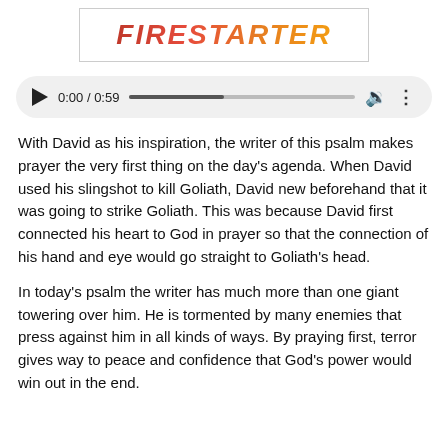[Figure (logo): FIRESTARTER logo text in italic bold uppercase letters with fire gradient coloring (red to orange), inside a thin rectangular border]
[Figure (other): Audio player control bar showing play button, time 0:00 / 0:59, progress bar, volume icon, and more options icon on a light gray rounded pill background]
With David as his inspiration, the writer of this psalm makes prayer the very first thing on the day's agenda. When David used his slingshot to kill Goliath, David new beforehand that it was going to strike Goliath. This was because David first connected his heart to God in prayer so that the connection of his hand and eye would go straight to Goliath's head.
In today's psalm the writer has much more than one giant towering over him.  He is tormented by many enemies that press against him in all kinds of ways.  By praying first, terror gives way to peace and confidence that God's power would win out in the end.